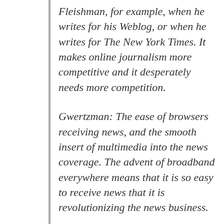Fleishman, for example, when he writes for his Weblog, or when he writes for The New York Times. It makes online journalism more competitive and it desperately needs more competition.
Gwertzman: The ease of browsers receiving news, and the smooth insert of multimedia into the news coverage. The advent of broadband everywhere means that it is so easy to receive news that it is revolutionizing the news business.
Newmark: Some of the group blogging and discussion mechanisms, like MetaFilter and